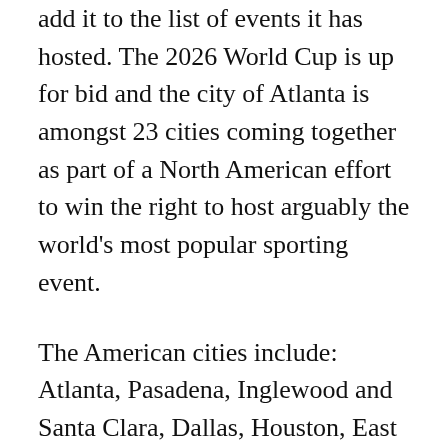add it to the list of events it has hosted. The 2026 World Cup is up for bid and the city of Atlanta is amongst 23 cities coming together as part of a North American effort to win the right to host arguably the world's most popular sporting event.
The American cities include: Atlanta, Pasadena, Inglewood and Santa Clara, Dallas, Houston, East Rutherford, New Jersey, Baltimore, Landover, Kansas City, Denver, Miami, Orlando, Foxborough, Nashville and Cincinnati. Each cities are soccer hotbeds and have teams play either in stadiums in those surrounding cities or in neighboring cities.